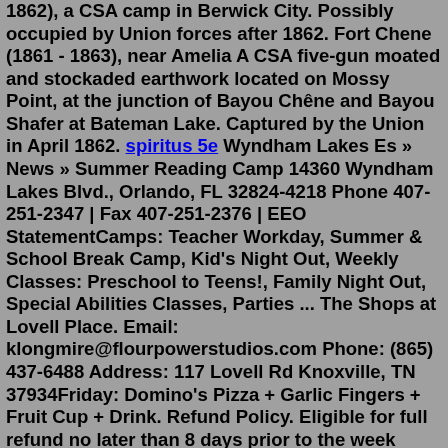1862), a CSA camp in Berwick City. Possibly occupied by Union forces after 1862. Fort Chene (1861 - 1863), near Amelia A CSA five-gun moated and stockaded earthwork located on Mossy Point, at the junction of Bayou Chêne and Bayou Shafer at Bateman Lake. Captured by the Union in April 1862. spiritus 5e Wyndham Lakes Es » News » Summer Reading Camp 14360 Wyndham Lakes Blvd., Orlando, FL 32824-4218 Phone 407-251-2347 | Fax 407-251-2376 | EEO StatementCamps: Teacher Workday, Summer & School Break Camp, Kid's Night Out, Weekly Classes: Preschool to Teens!, Family Night Out, Special Abilities Classes, Parties ... The Shops at Lovell Place. Email: klongmire@flourpowerstudios.com Phone: (865) 437-6488 Address: 117 Lovell Rd Knoxville, TN 37934Friday: Domino's Pizza + Garlic Fingers + Fruit Cup + Drink. Refund Policy. Eligible for full refund no later than 8 days prior to the week originally purchased. Register for Clovelly Junior Camps here! Please reach out to Clovelly Concierge